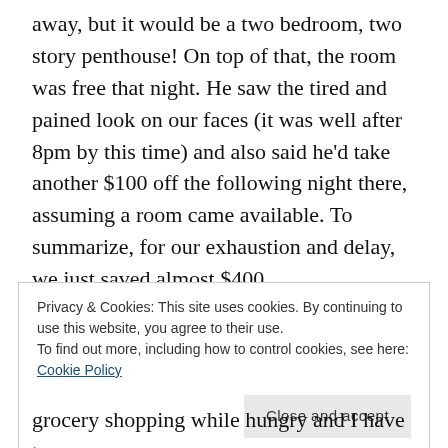away, but it would be a two bedroom, two story penthouse! On top of that, the room was free that night. He saw the tired and pained look on our faces (it was well after 8pm by this time) and also said he'd take another $100 off the following night there, assuming a room came available. To summarize, for our exhaustion and delay, we just saved almost $400.
The kids were tired and still hungry despite all the snacks. I didn't think the kids would do well in
Privacy & Cookies: This site uses cookies. By continuing to use this website, you agree to their use.
To find out more, including how to control cookies, see here: Cookie Policy
grocery shopping while hungry and I have to